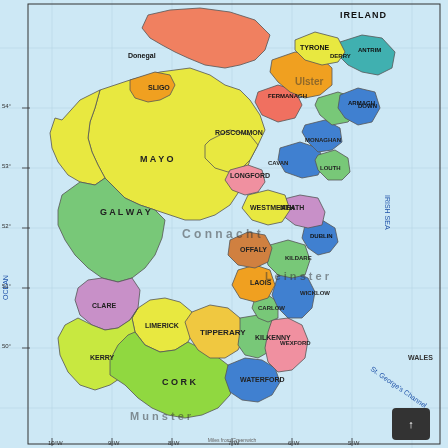[Figure (map): Detailed political/administrative map of Ireland showing all counties of both the Republic of Ireland and Northern Ireland. Counties are color-coded in various colors (yellow, green, pink/purple, blue, orange, red) and labeled with their names. Major towns, cities, bays, islands, and geographic features are labeled. Surrounding bodies of water are labeled: Atlantic Ocean on the west, Irish Sea on the east, St. George's Channel to the southeast. The coast of Wales is visible at the far right. Latitude and longitude grid lines are shown. A small scroll-to-top button appears in the bottom-right corner.]